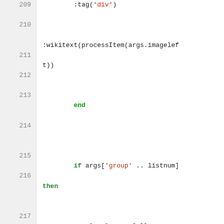Code listing lines 209-217 showing Lua/wiki template code with syntax highlighting